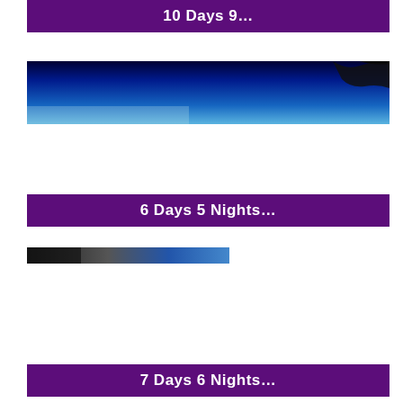10 Days 9…
[Figure (photo): Blue sky gradient panorama with dark tree silhouette at top right]
6 Days 5 Nights…
[Figure (photo): Partial thumbnail of a scenic photo, mostly dark/cut off]
7 Days 6 Nights…